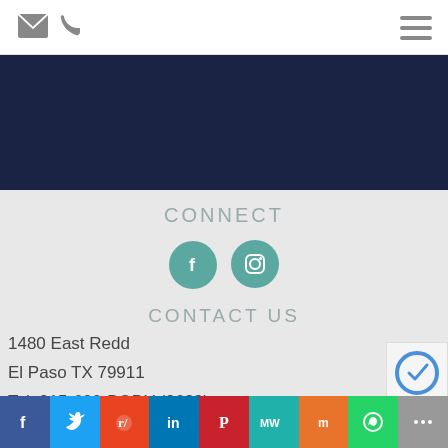[Figure (screenshot): Top navigation bar with envelope icon, phone icon (left), and hamburger menu icon (right)]
[Figure (illustration): Dark navy blue banner area]
CONNECT
[Figure (infographic): Two teal circular social media icons: Facebook (f) and Instagram (camera)]
CONTACT US
1480 East Redd
El Paso TX 79911
Tel: 915-600-BODY (2639)
[Figure (infographic): Social share bar at bottom with Facebook, Twitter, Reddit, LinkedIn, Pinterest, MeWe, Mix, WhatsApp, and More buttons]